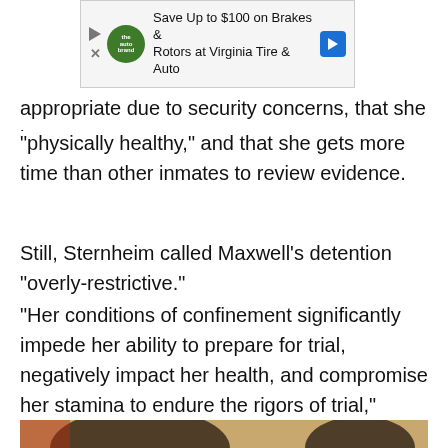[Figure (other): Advertisement banner: Save Up to $100 on Brakes & Rotors at Virginia Tire & Auto]
appropriate due to security concerns, that she is "physically healthy," and that she gets more time than other inmates to review evidence.
Still, Sternheim called Maxwell's detention "overly-restrictive."
"Her conditions of confinement significantly impede her ability to prepare for trial, negatively impact her health, and compromise her stamina to endure the rigors of trial," Sternheim wrote in a Nov. 9 filing.
[Figure (illustration): Courtroom sketch showing two people including a figure with dark hair in the foreground, with an American flag visible in the background.]